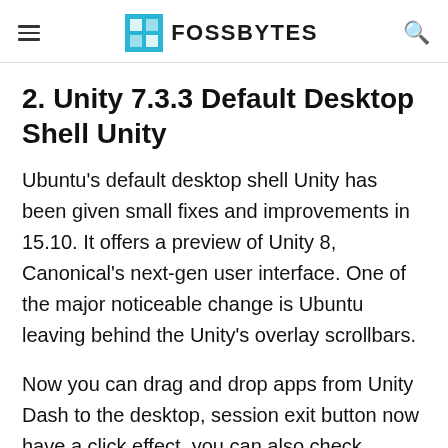FOSSBYTES
2. Unity 7.3.3 Default Desktop Shell Unity
Ubuntu's default desktop shell Unity has been given small fixes and improvements in 15.10. It offers a preview of Unity 8, Canonical's next-gen user interface. One of the major noticeable change is Ubuntu leaving behind the Unity's overlay scrollbars.
Now you can drag and drop apps from Unity Dash to the desktop, session exit button now have a click effect, you can also check changes in the…